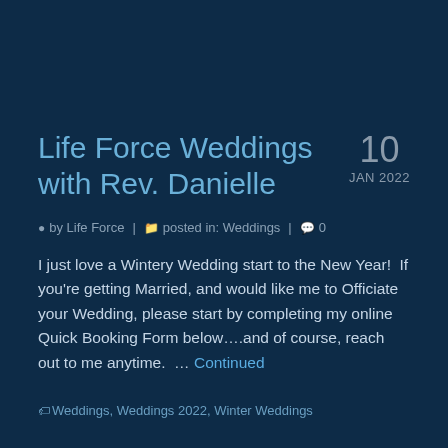Life Force Weddings with Rev. Danielle
10 JAN 2022
by Life Force | posted in: Weddings | 0
I just love a Wintery Wedding start to the New Year!  If you're getting Married, and would like me to Officiate your Wedding, please start by completing my online Quick Booking Form below....and of course, reach out to me anytime.  … Continued
Weddings, Weddings 2022, Winter Weddings